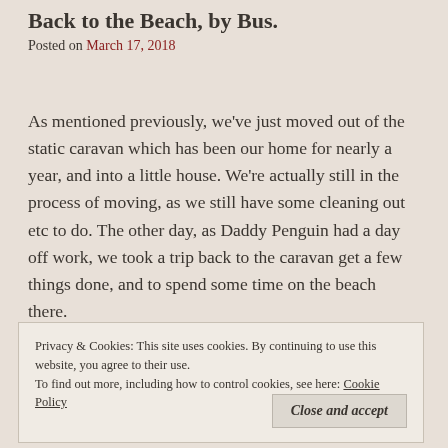Back to the Beach, by Bus.
Posted on March 17, 2018
As mentioned previously, we've just moved out of the static caravan which has been our home for nearly a year, and into a little house. We're actually still in the process of moving, as we still have some cleaning out etc to do. The other day, as Daddy Penguin had a day off work, we took a trip back to the caravan get a few things done, and to spend some time on the beach there.
Privacy & Cookies: This site uses cookies. By continuing to use this website, you agree to their use. To find out more, including how to control cookies, see here: Cookie Policy
Close and accept